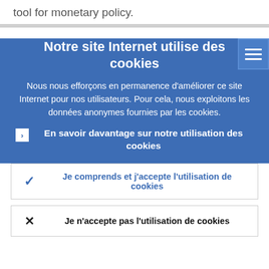tool for monetary policy.
Notre site Internet utilise des cookies
Nous nous efforçons en permanence d'améliorer ce site Internet pour nos utilisateurs. Pour cela, nous exploitons les données anonymes fournies par les cookies.
En savoir davantage sur notre utilisation des cookies
Je comprends et j'accepte l'utilisation de cookies
Je n'accepte pas l'utilisation de cookies